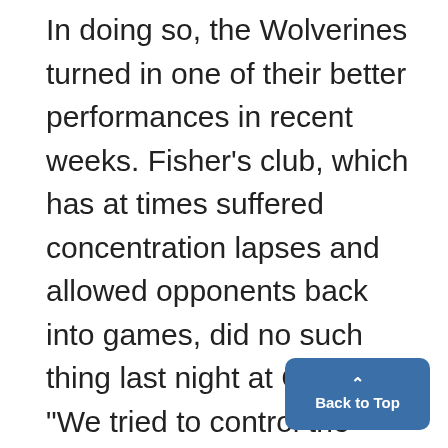In doing so, the Wolverines turned in one of their better performances in recent weeks. Fisher's club, which has at times suffered concentration lapses and allowed opponents back into games, did no such thing last night at Crisler. "We tried to control the tempo from start to finish, and we did that well," said Michigan center Juwan Howard, who led all scorers with 19 points. "They executed down the stretch," Hawkeye swingman